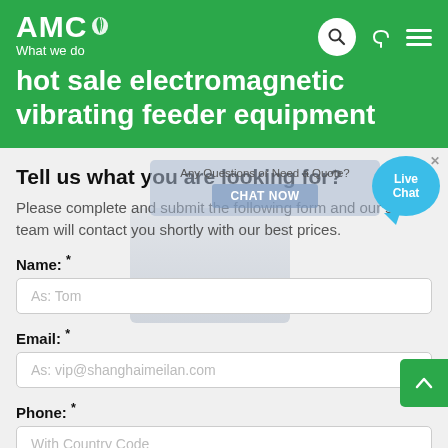AMC What we do
hot sale electromagnetic vibrating feeder equipment
Tell us what you are looking for?
Please complete and submit the following form and our sales team will contact you shortly with our best prices.
Name: *
As: Tom
Email: *
As: vip@shanghaimeilan.com
Phone: *